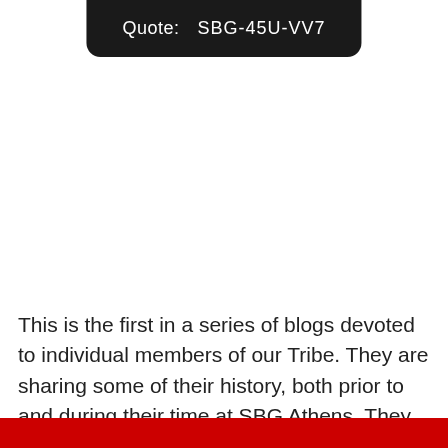Quote:    SBG-45U-VV7
This is the first in a series of blogs devoted to individual members of our Tribe. They are sharing some of their history, both prior to and during their time at SBG Athens. They tell of struggles, fears, concerns, and questions about wanting more from life. There is a Hero's Journey in all of them. [...]